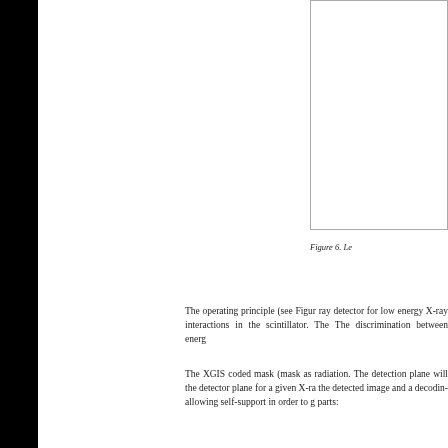[Figure (illustration): Partial view of a figure (Figure 6) showing a white rectangular diagram with a border, cut off at the right edge of the page crop.]
Figure 6. Le
The operating principle (see Figure ray detector for low energy X-ray interactions in the scintillator. The The discrimination between energy
The XGIS coded mask (mask as radiation. The detection plane will the detector plane for a given X-ra the detected image and a decoding allowing self-support in order to g parts: